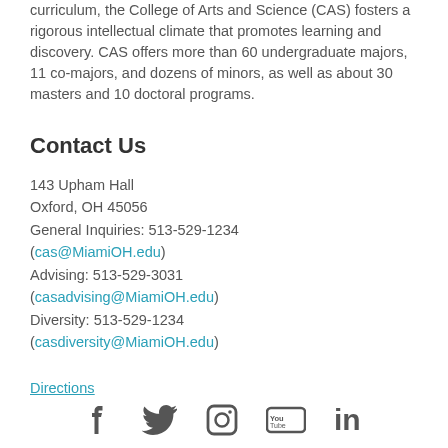curriculum, the College of Arts and Science (CAS) fosters a rigorous intellectual climate that promotes learning and discovery. CAS offers more than 60 undergraduate majors, 11 co-majors, and dozens of minors, as well as about 30 masters and 10 doctoral programs.
Contact Us
143 Upham Hall
Oxford, OH 45056
General Inquiries: 513-529-1234
(cas@MiamiOH.edu)
Advising: 513-529-3031
(casadvising@MiamiOH.edu)
Diversity: 513-529-1234
(casdiversity@MiamiOH.edu)
Directions
[Figure (illustration): Social media icons: Facebook, Twitter, Instagram, YouTube, LinkedIn]